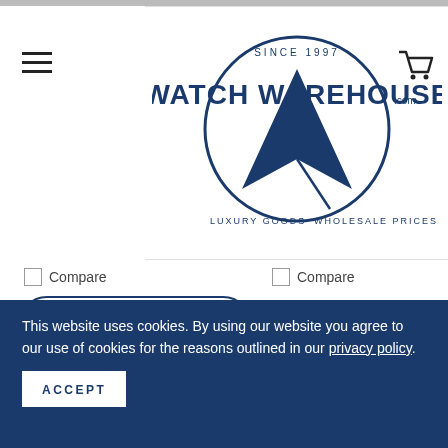[Figure (logo): Watch Warehouse logo with circle, arrow/chevron symbol, 'SINCE 1997' text, 'LUXURY GOODS' and 'WHOLESALE PRICES' subtitles]
Compare
Compare
ADD TO CART
ADD TO CART
Only 1 left
Only 1 left
This website uses cookies. By using our website you agree to our use of cookies for the reasons outlined in our privacy policy.
ACCEPT